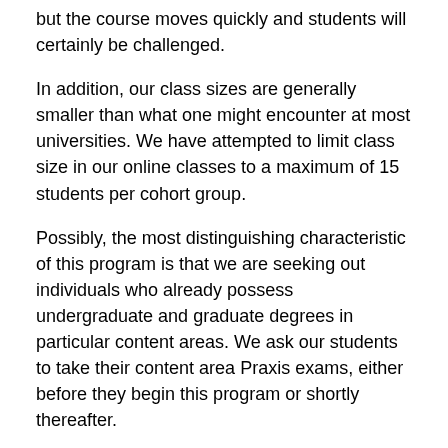but the course moves quickly and students will certainly be challenged.
In addition, our class sizes are generally smaller than what one might encounter at most universities. We have attempted to limit class size in our online classes to a maximum of 15 students per cohort group.
Possibly, the most distinguishing characteristic of this program is that we are seeking out individuals who already possess undergraduate and graduate degrees in particular content areas. We ask our students to take their content area Praxis exams, either before they begin this program or shortly thereafter.
Given that our students already possess the important content knowledge in...